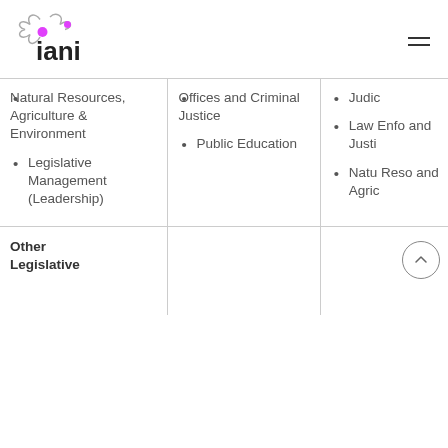iani (logo)
Natural Resources, Agriculture & Environment
Legislative Management (Leadership)
Offices and Criminal Justice
Public Education
Judicial (partial)
Law Enforcement and Criminal Justice (partial)
Natural Resources and Agriculture (partial)
Other Legislative
Assistance (partial)